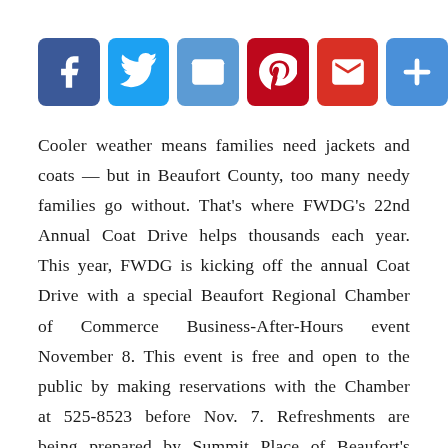[Figure (infographic): Social media sharing buttons: Facebook (blue), Twitter (blue), Email (blue), Pinterest (red), Gmail (red), More/Plus (blue)]
Cooler weather means families need jackets and coats — but in Beaufort County, too many needy families go without. That's where FWDG's 22nd Annual Coat Drive helps thousands each year. This year, FWDG is kicking off the annual Coat Drive with a special Beaufort Regional Chamber of Commerce Business-After-Hours event November 8. This event is free and open to the public by making reservations with the Chamber at 525-8523 before Nov. 7. Refreshments are being prepared by Summit Place of Beaufort's Chef Kent...